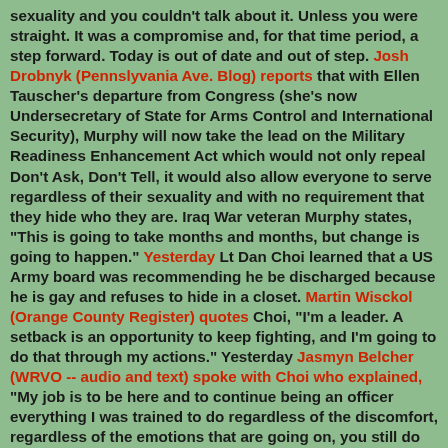sexuality and you couldn't talk about it. Unless you were straight. It was a compromise and, for that time period, a step forward. Today is out of date and out of step. Josh Drobnyk (Pennslyvania Ave. Blog) reports that with Ellen Tauscher's departure from Congress (she's now Undersecretary of State for Arms Control and International Security), Murphy will now take the lead on the Military Readiness Enhancement Act which would not only repeal Don't Ask, Don't Tell, it would also allow everyone to serve regardless of their sexuality and with no requirement that they hide who they are. Iraq War veteran Murphy states, "This is going to take months and months, but change is going to happen." Yesterday Lt Dan Choi learned that a US Army board was recommending he be discharged because he is gay and refuses to hide in a closet. Martin Wisckol (Orange County Register) quotes Choi, "I'm a leader. A setback is an opportunity to keep fighting, and I'm going to do that through my actions." Yesterday Jasmyn Belcher (WRVO -- audio and text) spoke with Choi who explained, "My job is to be here and to continue being an officer everything I was trained to do regardless of the discomfort, regardless of the emotions that are going on, you still do your duty. I believe this is my duty to stand up and to